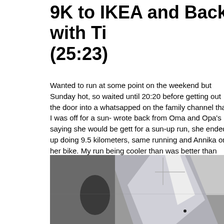9K to IKEA and Back with Ti... (25:23)
Wanted to run at some point on the weekend but Sunday hot, so waited until 20:20 before getting out the door into a whatsapped on the family channel that I was off for a sun- wrote back from Oma and Opa's saying she would be gett for a sun-up run, she ended up doing 9.5 kilometers, same running and Annika on her bike. My run being cooler than was better than last time, down to 25:23. I need to lose so run faster, I would say, hovering around 80 kilos at the mo during the day at this point in summer as it is getting up to run finished in the dark, I stopped at the Arnulfstraße gas s cold jug of Multivitamin juice, and then had a nice night-ru
[Figure (photo): A photograph showing a reflective or metallic surface (possibly a bike frame or component) against a grey wall, with a bright window or light source visible in the background creating a reflection.]